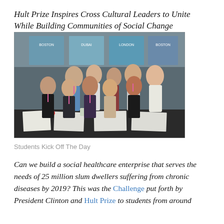Hult Prize Inspires Cross Cultural Leaders to Unite While Building Communities of Social Change
[Figure (photo): Group of approximately 12 students posing together at a table with papers, wearing event lanyards, in front of banner stands showing city names including Dubai and London.]
Students Kick Off The Day
Can we build a social healthcare enterprise that serves the needs of 25 million slum dwellers suffering from chronic diseases by 2019?  This was the Challenge put forth by President Clinton and Hult Prize to students from around